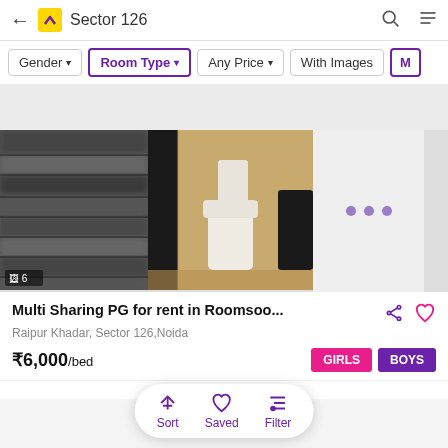Sector 126
Gender ▼
Room Type ▼
Any Price ▼
With Images
[Figure (photo): Property listing image carousel showing a blurred exterior wall and a bathroom interior with toilet]
Multi Sharing PG for rent in Roomsoo...
Raipur Khadar, Sector 126,Noida
₹6,000/bed
GIRLS  BOYS
Sort  Saved  Filter
SHARING